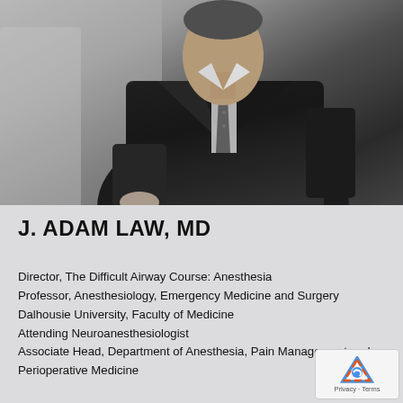[Figure (photo): Black and white professional portrait photo of J. Adam Law, MD, a man in a dark suit with a patterned tie, shown from roughly the waist up, leaning slightly to one side.]
J. ADAM LAW, MD
Director, The Difficult Airway Course: Anesthesia
Professor, Anesthesiology, Emergency Medicine and Surgery
Dalhousie University, Faculty of Medicine
Attending Neuroanesthesiologist
Associate Head, Department of Anesthesia, Pain Management and Perioperative Medicine